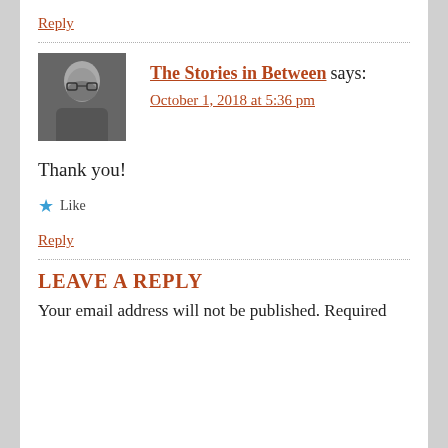Reply
The Stories in Between says:
October 1, 2018 at 5:36 pm
Thank you!
Like
Reply
LEAVE A REPLY
Your email address will not be published. Required